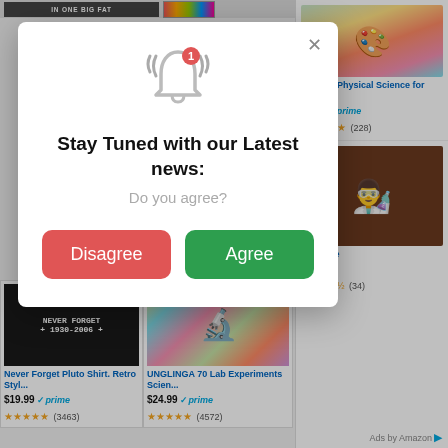[Figure (screenshot): Amazon product advertisement grid showing book covers and product thumbnails in the background, partially obscured by a modal dialog]
[Figure (screenshot): Modal notification consent dialog with bell icon, title 'Stay Tuned with our Latest news:', subtitle 'Do you agree?', and two buttons: red 'Disagree' and green 'Agree']
Energy: Physical Science for Kids
$9.95 ✓prime
★★★★★ (228)
Pressure
$0.99
★★★★½ (34)
Never Forget Pluto Shirt. Retro Styl...
$19.99 ✓prime
★★★★★ (3463)
UNGLINGA 70 Lab Experiments Scien...
$24.99 ✓prime
★★★★★ (4572)
Ads by Amazon ▶